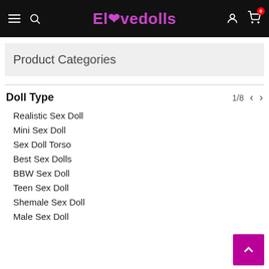Elovedolls
Product Categories
Doll Type
Realistic Sex Doll
Mini Sex Doll
Sex Doll Torso
Best Sex Dolls
BBW Sex Doll
Teen Sex Doll
Shemale Sex Doll
Male Sex Doll